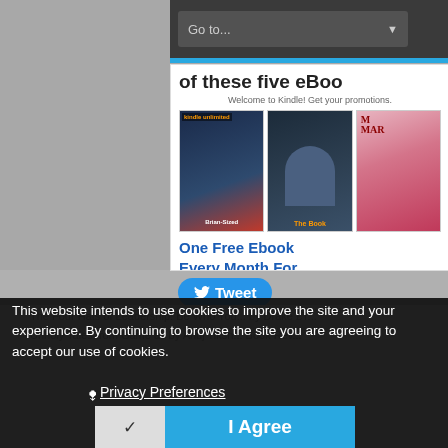[Figure (screenshot): Navigation bar with 'Go to...' dropdown menu on dark background with blue horizontal line below]
[Figure (screenshot): Kindle promotional card showing 'of these five eBoo' title text, welcome message, three book covers, and 'One Free Ebook Every Month For' text in blue]
[Figure (screenshot): Twitter Tweet button in blue rounded style]
This website intends to use cookies to improve the site and your experience. By continuing to browse the site you are agreeing to accept our use of cookies.
Privacy Preferences
I Agree